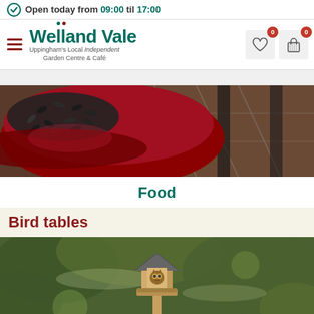Open today from 09:00 til 17:00
[Figure (screenshot): Welland Vale Garden Centre navigation bar with logo, hamburger menu, and cart/wishlist icons showing 0 items]
[Figure (photo): Close-up photo of bird seeds in a red bowl on tiled surface]
Food
Bird tables
[Figure (photo): Wooden owl bird table/feeder hanging in a tree with snowy branches]